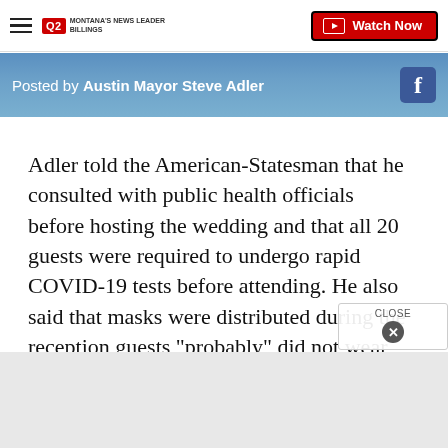Q2 MONTANA'S NEWS LEADER BILLINGS | Watch Now
[Figure (screenshot): Facebook video thumbnail showing 'Posted by Austin Mayor Steve Adler' text overlay on a blue-toned image with Facebook icon on right]
Adler told the American-Statesman that he consulted with public health officials before hosting the wedding and that all 20 guests were required to undergo rapid COVID-19 tests before attending. He also said that masks were distributed during the reception guests "probably" did not wear them for the duration of th